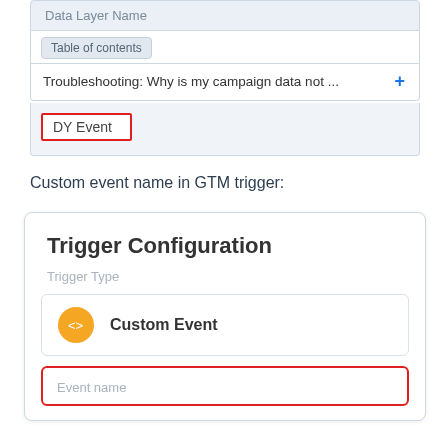[Figure (screenshot): UI screenshot showing a Data Layer Name field in a light blue panel, with a Table of contents badge, a Troubleshooting link row, and a DY Event cell highlighted with a red border.]
Custom event name in GTM trigger:
[Figure (screenshot): Trigger Configuration panel showing Trigger Type section with a Custom Event option (orange circle icon with code brackets) and an Event name input field highlighted with a red border.]